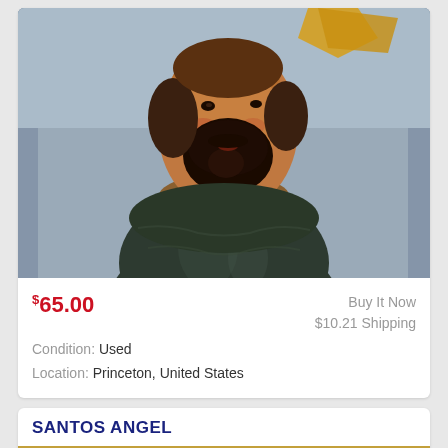[Figure (photo): Close-up photo of an antique religious statue (santos figure) showing a bearded man's face and upper torso wearing a dark greenish-black robe, against a gray background]
$65.00
Buy It Now
$10.21 Shipping
Condition: Used
Location: Princeton, United States
SANTOS ANGEL
[Figure (photo): Partial photo of another item (Santos Angel) showing a golden/brown background with what appears to be a wing design]